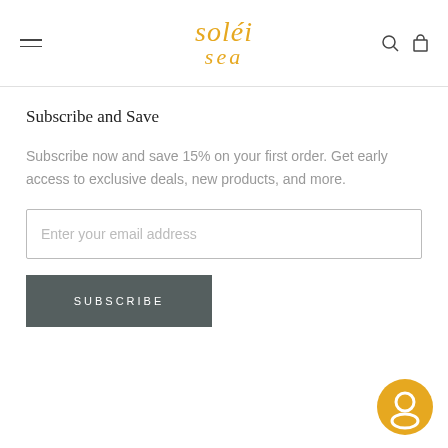soléi sea
Subscribe and Save
Subscribe now and save 15% on your first order. Get early access to exclusive deals, new products, and more.
Enter your email address
SUBSCRIBE